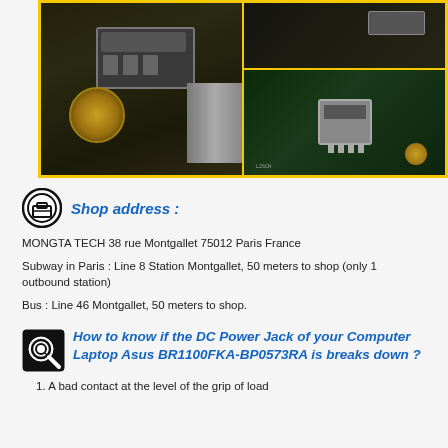[Figure (photo): Photos of DC Power Jack connector components on green PCB circuit boards, shown in two panels side by side with yellow border]
Shop address :
MONGTA TECH 38 rue Montgallet 75012 Paris France
Subway in Paris : Line 8 Station Montgallet, 50 meters to shop (only 1 outbound station)
Bus : Line 46 Montgallet, 50 meters to shop.
How to know if the DC Power Jack of your Computer Laptop Asus BR1100FKA-BP0573RA is breaks down ?
1.  A bad contact at the level of the grip of load